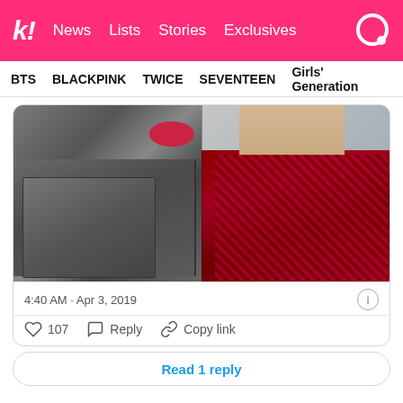k! News Lists Stories Exclusives
BTS BLACKPINK TWICE SEVENTEEN Girls' Generation
[Figure (photo): Split image showing left half as an illustrated/cartoon version of a person in dark clothing and right half as a real photograph of the same person wearing a red/maroon Fendi scarf and jacket]
4:40 AM · Apr 3, 2019
107  Reply  Copy link
Read 1 reply